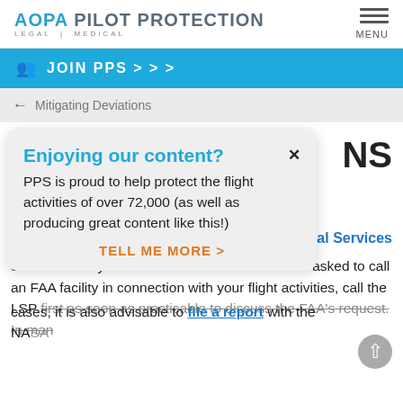AOPA PILOT PROTECTION LEGAL | MEDICAL
JOIN PPS > > >
← Mitigating Deviations
[Figure (screenshot): Popup modal overlay with title 'Enjoying our content?', close button X, body text 'PPS is proud to help protect the flight activities of over 72,000 (as well as producing great content like this!)', and CTA 'TELL ME MORE >']
NS
Legal Services
ch as a runway incursion or altitude deviation.  If asked to call an FAA facility in connection with your flight activities, call the LSP first as soon as practicable to discuss the FAA's request. In many cases, it is also advisable to file a report with the NASA